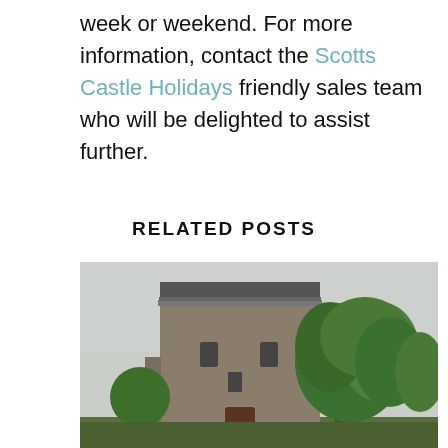week or weekend. For more information, contact the Scotts Castle Holidays friendly sales team who will be delighted to assist further.
RELATED POSTS
[Figure (photo): Photograph of a Scottish stone tower castle with a slate roof, surrounded by green trees on a cloudy day.]